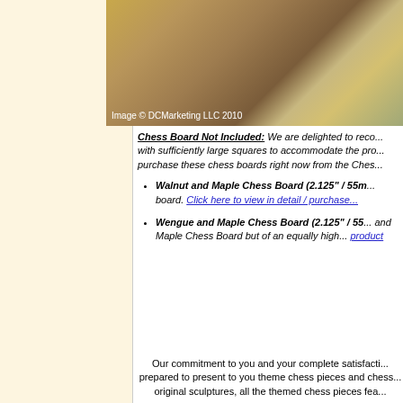[Figure (photo): Close-up photo of chess pieces and board, showing wooden textures. Image copyright DCMarketing LLC 2010.]
Chess Board Not Included: We are delighted to recommend boards with sufficiently large squares to accommodate the product. You may purchase these chess boards right now from the Ches...
Walnut and Maple Chess Board (2.125" / 55... board. Click here to view in detail / purchase...
Wengue and Maple Chess Board (2.125" / 55... and Maple Chess Board but of an equally high... product
Our commitment to you and your complete satisfaction... prepared to present to you theme chess pieces and chess... original sculptures, all the themed chess pieces fea...